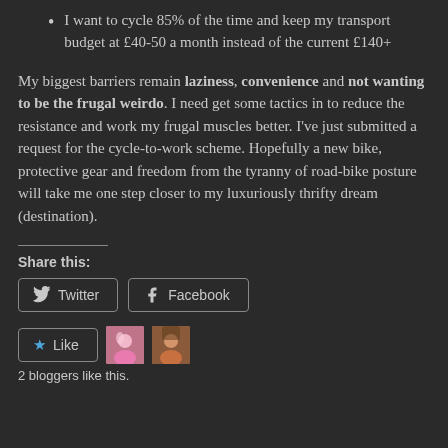I want to cycle 85% of the time and keep my transport budget at £40-50 a month instead of the current £140+
My biggest barriers remain laziness, convenience and not wanting to be the frugal weirdo. I need get some tactics in to reduce the resistance and work my frugal muscles better. I've just submitted a request for the cycle-to-work scheme. Hopefully a new bike, protective gear and freedom from the tyranny of road-bike posture will take me one step closer to my luxuriously thrifty dream (destination).
Share this:
Twitter  Facebook
Like  2 bloggers like this.